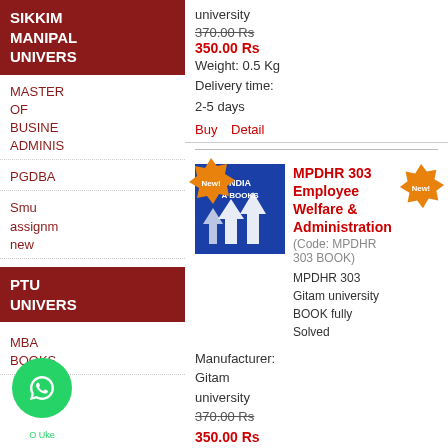SIKKIM MANIPAL UNIVERSITY
MASTER OF BUSINESS ADMINISTRATION
PGDBA
Smu assignment new
PTU UNIVERSITY
MBA BOOKS
university
370.00 Rs
350.00 Rs
Weight: 0.5 Kg
Delivery time: 2-5 days
Buy   Detail
[Figure (photo): Book cover with blue background showing arrows pointing upward, labeled INDIA MBA BOOKS with New! badge]
MPDHR 303 Employee Welfare & Administration (Code: MPDHR 303 BOOK) MPDHR 303 Gitam university BOOK fully Solved
Manufacturer: Gitam university
370.00 Rs
350.00 Rs